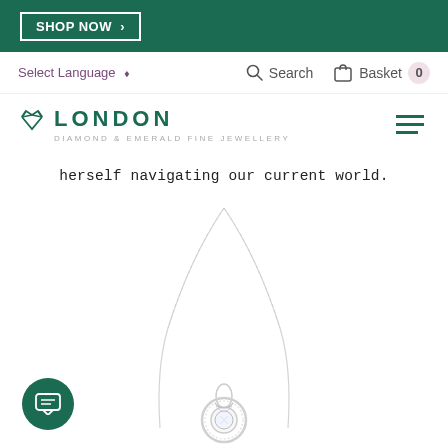SHOP NOW >
Select Language ⬧  Search  Basket 0
LONDON DIAMOND & EMERALD FINE JEWELLERY
herself navigating our current world.
[Figure (photo): Silver diamond halo pendant necklace on a fine chain, shown hanging vertically with the round brilliant-cut diamond pendant visible at the bottom.]